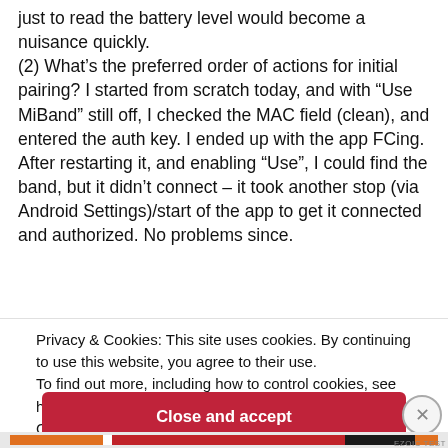just to read the battery level would become a nuisance quickly.
(2) What's the preferred order of actions for initial pairing? I started from scratch today, and with “Use MiBand” still off, I checked the MAC field (clean), and entered the auth key. I ended up with the app FCing. After restarting it, and enabling “Use”, I could find the band, but it didn’t connect – it took another stop (via Android Settings)/start of the app to get it connected and authorized. No problems since.
Privacy & Cookies: This site uses cookies. By continuing to use this website, you agree to their use.
To find out more, including how to control cookies, see here:
Cookie Policy
Close and accept